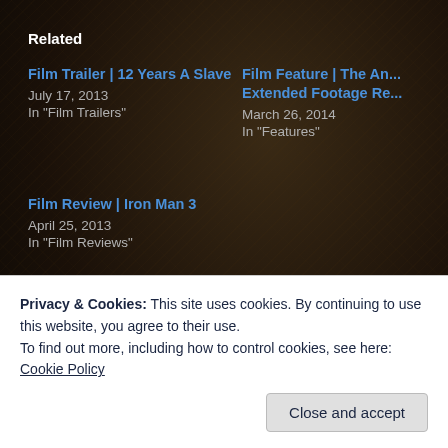Related
Film Trailer | 12 Years A Slave
July 17, 2013
In "Film Trailers"
Film Feature | The An... Extended Footage Re...
March 26, 2014
In "Features"
Film Review | Iron Man 3
April 25, 2013
In "Film Reviews"
This entry was posted on May 14, 2014. It was filed under Interviews and was tagged with 12 Years A Slave, Bab... Williams, Superman, The Amazing Spider-Man 2.
Privacy & Cookies: This site uses cookies. By continuing to use this website, you agree to their use.
To find out more, including how to control cookies, see here: Cookie Policy
Close and accept